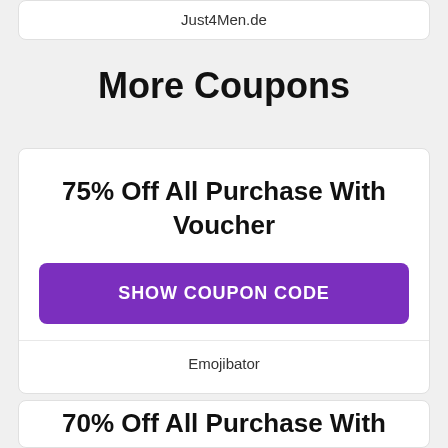Just4Men.de
More Coupons
75% Off All Purchase With Voucher
SHOW COUPON CODE
Emojibator
70% Off All Purchase With